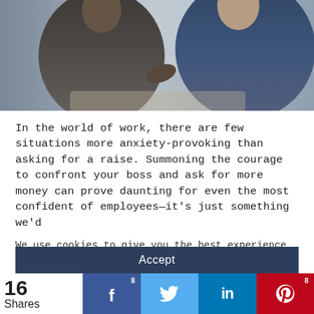[Figure (photo): Two businessmen in suits, one appears to be shaking hands or gesturing during a meeting, viewed from above/side angle]
In the world of work, there are few situations more anxiety-provoking than asking for a raise. Summoning the courage to confront your boss and ask for more money can prove daunting for even the most confident of employees—it's just something we'd
We use cookies to give you the best experience on our website. By clicking 'Accept' you are consenting to the use of this data as outlined in our Privacy and Cookie Policy.
Accept
16 Shares  8 (Facebook)  (Twitter)  (LinkedIn)  8 (Pinterest)